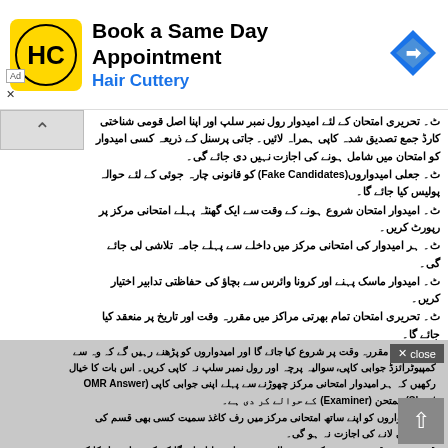[Figure (screenshot): Advertisement banner for Hair Cuttery - Book a Same Day Appointment with logo and navigation icon]
تحریری امتحان کے لئے امیدوار رول نمبر سلپ اور اپنا اصل قومی شناختی کارڈ جمع تصدیق شدہ کاپی ہمراہ لائیں۔ جاتی پرسنل کے ذریعہ کسی امیدوار کو امتحان میں شامل ہونے کی اجازت نہیں دی جائے گی۔
جعلی امیدواروں(Fake Candidates) کو قانونی چارہ جوئی کے لئے حوالہ پولیس کیا جائے گا۔
امیدوار امتحان شروع ہونے کے وقت سے ایک گھنٹہ پہلے امتحانی مرکز پر رپورٹ کریں۔
ہر امیدوار کی امتحانی مرکز میں داخلے سے پہلے جامہ تلاشی لی جائے گی۔
امیدوار ماسک پہنے اور کرونا وائرس سے بچاؤ کی حفاظتی تدابیر اختیار کریں۔
تحریری امتحان تمام بھرتی مراکز میں مقررہ وقت اور تاریخ پر منعقد کیا جائے گا۔
امیدواروں کی تعداد زیادہ ہونے کی صورت میں بورڈ کوارٹرز اے ایس آئی کی منظوری سے امیدواروں کا تحریری امتحان ایک سے زیادہ شخص میں لیا جا سکتا ہے۔
تحریری امتحان کے کل امیدواروں کو تحریری امتحان سے قبل مقررہ وقت اور تاریخ کے متعلق متعلقہ کیا جائے گا۔
مقررہ وقت کے بعد کسی امیدوار کو امتحانی مرکز میں داخلے کی اجازت نہیں دی جائے گی۔
مقررہ تاریخ کو امتحانی وقت شروع ہونے سے 30 سے 40 منٹ پہلے امیدواروں کو امتحانی مرکز میں مقررہ نشستوں پر بٹھایا جائے گا۔
کسی بھی امیدوار کو امتحان کے دوران واپی چکہ چھوڑنے کی اجازت نہ ہو گی۔
امیدواروں کو امتحانی مرکز میں اپنے ساتھ کیلکولیٹر، موبائل فون اور کیلکولیٹر لانے کی اجازت نہ ہو گی۔
امتحان مقررہ وقت پر شروع کیا جائے گا اور امیدواروں کو پڑھنے رہیں گے کہ وہ سے کمپیوٹرائزڈ جوابی کاپی، سوالیہ پرچہ اور رول نمبر سلپ نہ کاپی کریں۔ اس بات کا خیال رکھیں کہ ہر امیدوار امتحانی مرکز چھوڑنے سے پہلے اپنی جوابی کاپی (OMR Answer Sheet) ممتحن (Examiner) کے حوالے کر دی ہے۔
امیدواروں کو اپنے ساتھ امتحانی مرکز میں رف کاغذ سمیت کسی بھی قسم کی سٹیشنری لانے کی اجازت نہ ہو گی۔
مقررہ وقت ختم ہونے کے بعد سوالیہ پرچہ واپس لیا جائے گا کہ کسی امیدوار کا کسی بھی وقت پیچے کو یادداشتوں چھوڑنے کی اجازت نہ ہو گی۔